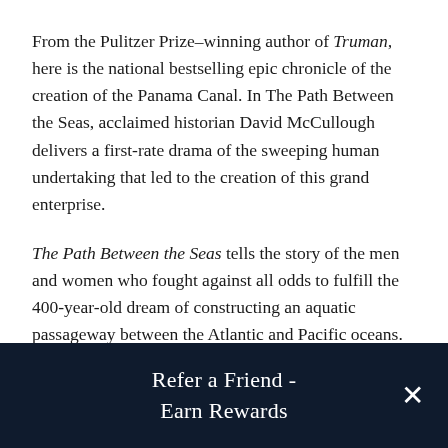From the Pulitzer Prize–winning author of Truman, here is the national bestselling epic chronicle of the creation of the Panama Canal. In The Path Between the Seas, acclaimed historian David McCullough delivers a first-rate drama of the sweeping human undertaking that led to the creation of this grand enterprise.
The Path Between the Seas tells the story of the men and women who fought against all odds to fulfill the 400-year-old dream of constructing an aquatic passageway between the Atlantic and Pacific oceans. It is a story of astonishing engineering feats, tremendous medical accomplishments, political power plays, heroic successes, and tragic failures.
Refer a Friend - Earn Rewards